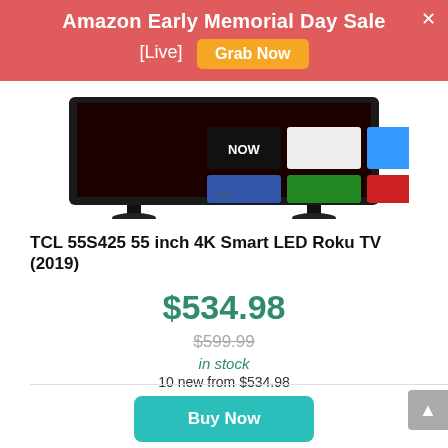Amazon Early Memorial Day Sale [Live] Grab Now
[Figure (photo): TCL 55-inch 4K Smart LED Roku TV product photo showing the TV screen with streaming app tiles including NOW, and colorful channel icons on a dark background, with a thin bezel and stand legs.]
TCL 55S425 55 inch 4K Smart LED Roku TV (2019)
$534.98
$599.99
in stock
10 new from $534.98
Buy Now
Amazon.com